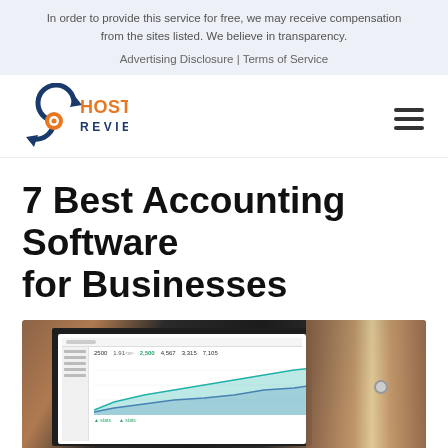In order to provide this service for free, we may receive compensation from the sites listed. We believe in transparency.
Advertising Disclosure | Terms of Service
[Figure (logo): Hosting Review logo with circular arrow icon in dark blue and orange, text HOSTING REVIEW]
7 Best Accounting Software for Businesses
[Figure (photo): Laptop screen showing accounting/dashboard software with charts and numerical data, set on a desk with a wooden door visible in the background]